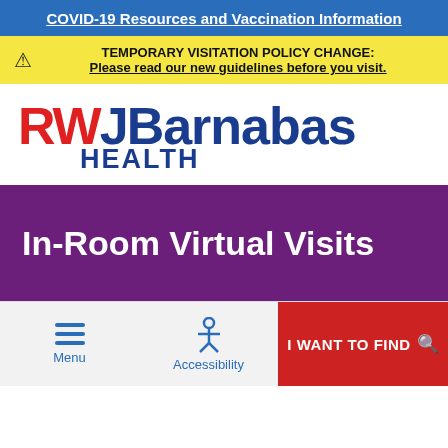COVID-19 Resources and Vaccination Information
TEMPORARY VISITATION POLICY CHANGE: Please read our new guidelines before you visit.
[Figure (logo): RWJBarnabas Health logo — RWJ in red and blue, Barnabas in blue, HEALTH in blue bold]
In-Room Virtual Visits
Menu | Accessibility | I WANT TO FIND